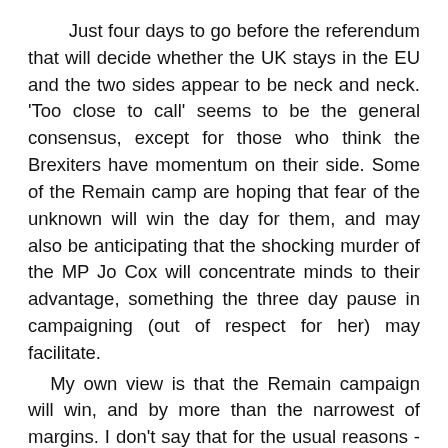Just four days to go before the referendum that will decide whether the UK stays in the EU and the two sides appear to be neck and neck. 'Too close to call' seems to be the general consensus, except for those who think the Brexiters have momentum on their side. Some of the Remain camp are hoping that fear of the unknown will win the day for them, and may also be anticipating that the shocking murder of the MP Jo Cox will concentrate minds to their advantage, something the three day pause in campaigning (out of respect for her) may facilitate.
My own view is that the Remain campaign will win, and by more than the narrowest of margins. I don't say that for the usual reasons - free movement, jobs, trade, etc, etc - but for another one that struck me when I heard something Nigel Farage, the UKIP (United Kingdom